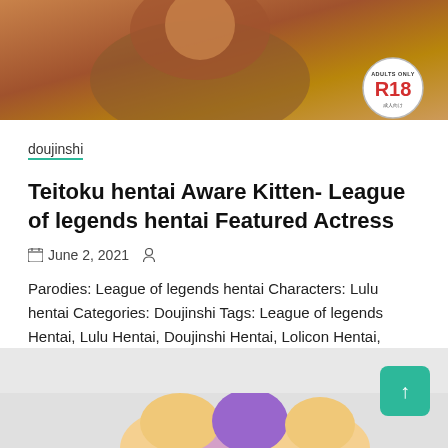[Figure (illustration): Anime/manga style illustration with R18 badge in bottom right corner showing adult content rating]
doujinshi
Teitoku hentai Aware Kitten- League of legends hentai Featured Actress
June 2, 2021
Parodies: League of legends hentai Characters: Lulu hentai Categories: Doujinshi Tags: League of legends Hentai, Lulu Hentai, Doujinshi Hentai, Lolicon Hentai, Kemonomimi Hentai, Stomach deformation
Shows More
[Figure (illustration): Anime/manga style illustration showing characters at the bottom of the page]